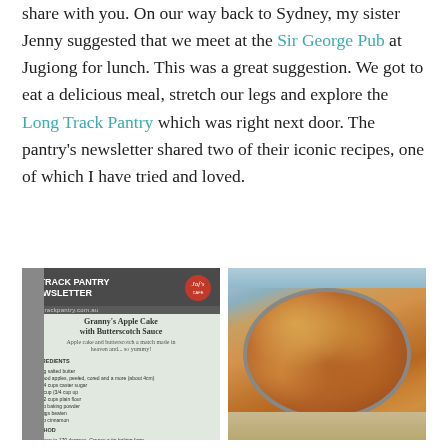share with you. On our way back to Sydney, my sister Jenny suggested that we meet at the Sir George Pub at Jugiong for lunch. This was a great suggestion. We got to eat a delicious meal, stretch our legs and explore the Long Track Pantry which was right next door. The pantry's newsletter shared two of their iconic recipes, one of which I have tried and loved.
[Figure (photo): Photo of a Long Track Pantry newsletter showing a recipe for Granny's Apple Cake with Butterscotch Sauce, with a Jam Factory logo visible at the bottom]
[Figure (photo): Photo of a baked apple cake in a round metal pan, golden-brown and rustic looking, sitting on a wooden surface with a blue background]